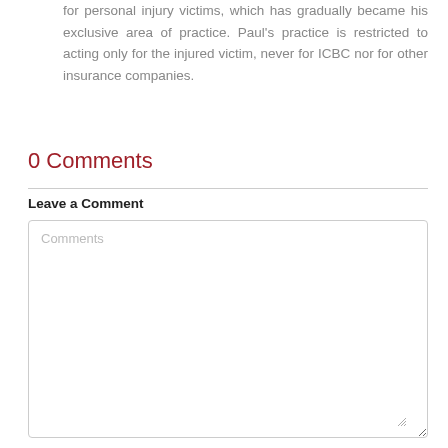for personal injury victims, which has gradually became his exclusive area of practice. Paul's practice is restricted to acting only for the injured victim, never for ICBC nor for other insurance companies.
0 Comments
Leave a Comment
Comments